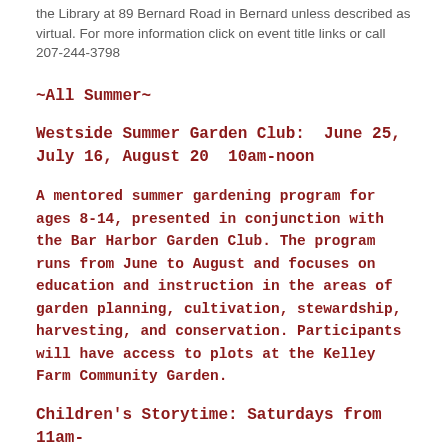the Library at 89 Bernard Road in Bernard unless described as virtual. For more information click on event title links or call 207-244-3798
~All Summer~
Westside Summer Garden Club:  June 25, July 16, August 20  10am-noon
A mentored summer gardening program for ages 8-14, presented in conjunction with the Bar Harbor Garden Club. The program runs from June to August and focuses on education and instruction in the areas of garden planning, cultivation, stewardship, harvesting, and conservation. Participants will have access to plots at the Kelley Farm Community Garden.
Children's Storytime: Saturdays from 11am-